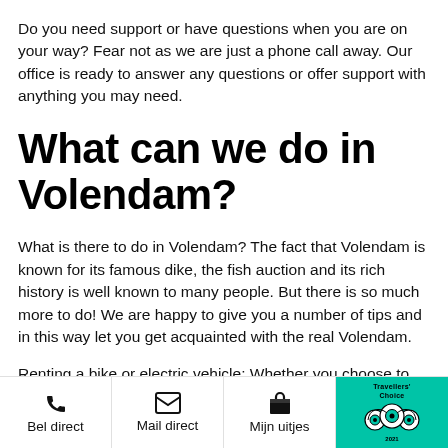Do you need support or have questions when you are on your way? Fear not as we are just a phone call away. Our office is ready to answer any questions or offer support with anything you may need.
What can we do in Volendam?
What is there to do in Volendam? The fact that Volendam is known for its famous dike, the fish auction and its rich history is well known to many people. But there is so much more to do! We are happy to give you a number of tips and in this way let you get acquainted with the real Volendam.
Renting a bike or electric vehicle: Whether you choose to rent an bike or an e-scooter with us, we will make sure you
Bel direct   Mail direct   Mijn uitjes